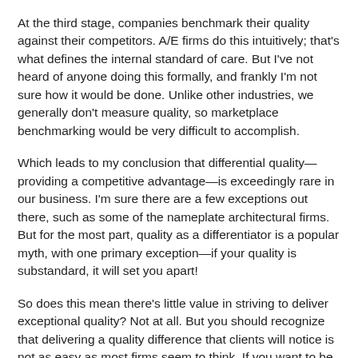At the third stage, companies benchmark their quality against their competitors. A/E firms do this intuitively; that's what defines the internal standard of care. But I've not heard of anyone doing this formally, and frankly I'm not sure how it would be done. Unlike other industries, we generally don't measure quality, so marketplace benchmarking would be very difficult to accomplish.
Which leads to my conclusion that differential quality—providing a competitive advantage—is exceedingly rare in our business. I'm sure there are a few exceptions out there, such as some of the nameplate architectural firms. But for the most part, quality as a differentiator is a popular myth, with one primary exception—if your quality is substandard, it will set you apart!
So does this mean there's little value in striving to deliver exceptional quality? Not at all. But you should recognize that delivering a quality difference that clients will notice is not as easy as most firms seem to think. If you want to be among those rare firms who truly are distinguished by their quality,